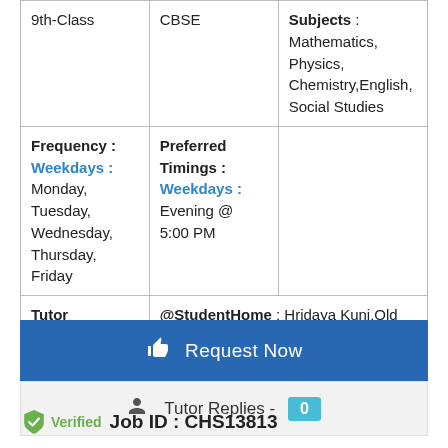| 9th-Class | CBSE | Subjects : Mathematics, Physics, Chemistry, English, Social Studies |
| Frequency : Weekdays : Monday, Tuesday, Wednesday, Thursday, Friday | Preferred Timings : Weekdays : Evening @ 5:00 PM |  |
| Tutor Preferred : Male/Female | @StudentHome : Hridaya Kunj,Old Wadaj - 380027,Ahmedabad |  |
Request Now
Tutor Replies - 0
Verified  Job ID : CHS13813